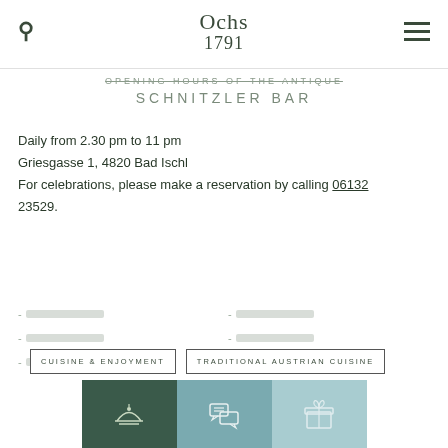Ochs 1791
OPENING HOURS OF THE ANTIQUE SCHNITZLER BAR
Daily from 2.30 pm to 11 pm
Griesgasse 1, 4820 Bad Ischl
For celebrations, please make a reservation by calling 06132 23529.
-
-
-
-
-
-
-
-
CUISINE & ENJOYMENT
TRADITIONAL AUSTRIAN CUISINE
[Figure (illustration): Three icon buttons at the bottom: a cloche/serving dish icon on dark green background, a speech bubble/chat icon on medium teal background, and a gift box icon on light teal background.]